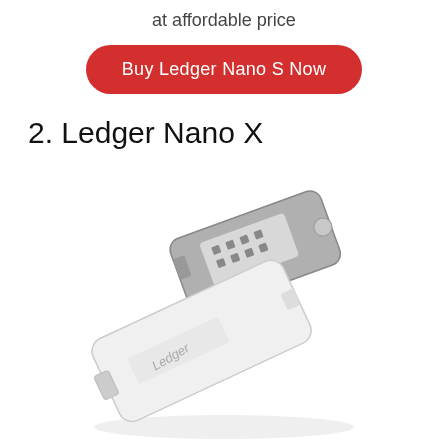at affordable price
Buy Ledger Nano S Now
2. Ledger Nano X
[Figure (photo): Photo of a Ledger Nano X hardware cryptocurrency wallet, showing the device at an angle with its screen displaying icons and the Ledger logo visible on the body. The device is silver/white in color and resembles a USB drive.]